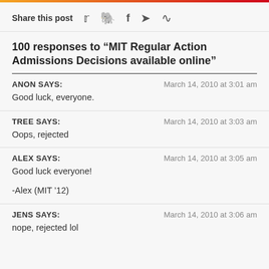Share this post
100 responses to “MIT Regular Action Admissions Decisions available online”
ANON SAYS: March 14, 2010 at 3:01 am
Good luck, everyone.
TREE SAYS: March 14, 2010 at 3:03 am
Oops, rejected
ALEX SAYS: March 14, 2010 at 3:05 am
Good luck everyone!
-Alex (MIT ’12)
JENS SAYS: March 14, 2010 at 3:06 am
nope, rejected lol